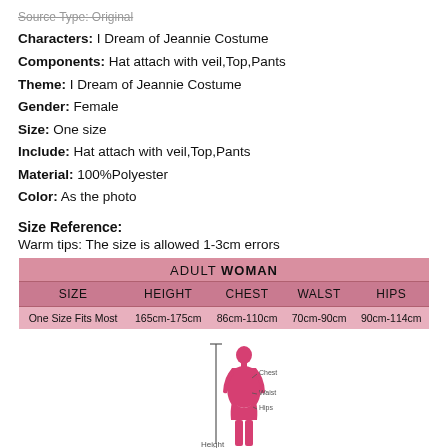Source Type: Original
Characters: I Dream of Jeannie Costume
Components: Hat attach with veil,Top,Pants
Theme: I Dream of Jeannie Costume
Gender: Female
Size: One size
Include: Hat attach with veil,Top,Pants
Material: 100%Polyester
Color: As the photo
Size Reference:
Warm tips: The size is allowed 1-3cm errors
| SIZE | HEIGHT | CHEST | WALST | HIPS |
| --- | --- | --- | --- | --- |
| One Size Fits Most | 165cm-175cm | 86cm-110cm | 70cm-90cm | 90cm-114cm |
[Figure (illustration): Silhouette of a female figure with measurement labels: Chest, Waist, Hips, Height indicated by lines]